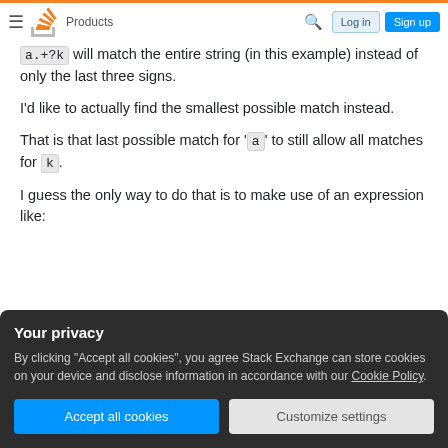Stack Overflow navigation bar with hamburger menu, logo, Products link, search icon, Log in and Sign up buttons
a.+?k will match the entire string (in this example) instead of only the last three signs.
I'd like to actually find the smallest possible match instead.
That is that last possible match for 'a' to still allow all matches for k.
I guess the only way to do that is to make use of an expression like:
Your privacy
By clicking "Accept all cookies", you agree Stack Exchange can store cookies on your device and disclose information in accordance with our Cookie Policy.
Accept all cookies
Customize settings